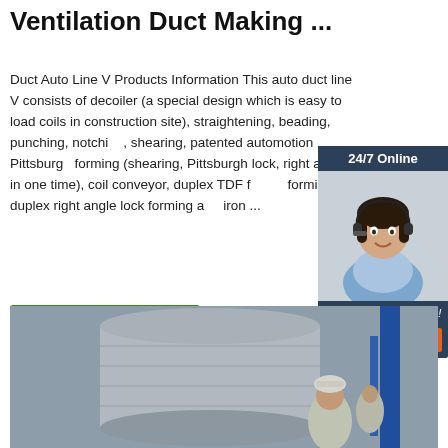Ventilation Duct Making ...
Duct Auto Line V Products Information This auto duct line V consists of decoiler (a special design which is easy to load coils in construction site), straightening, beading, punching, notching, shearing, patented automotion Pittsburgh forming (shearing, Pittsburgh lock, right angle in one time), coil conveyor, duplex TDF flange forming, duplex right angle lock forming and iron ...
[Figure (photo): Customer service representative with headset, 24/7 Online chat widget with QUOTATION button]
[Figure (photo): Industrial worker in hard hat working near large ventilation duct in factory setting]
Get Price